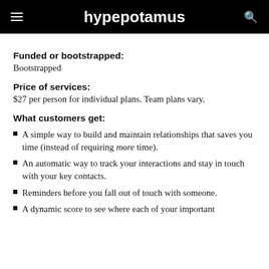hypepotamus
Funded or bootstrapped:
Bootstrapped
Price of services:
$27 per person for individual plans. Team plans vary.
What customers get:
A simple way to build and maintain relationships that saves you time (instead of requiring more time).
An automatic way to track your interactions and stay in touch with your key contacts.
Reminders before you fall out of touch with someone.
A dynamic score to see where each of your important